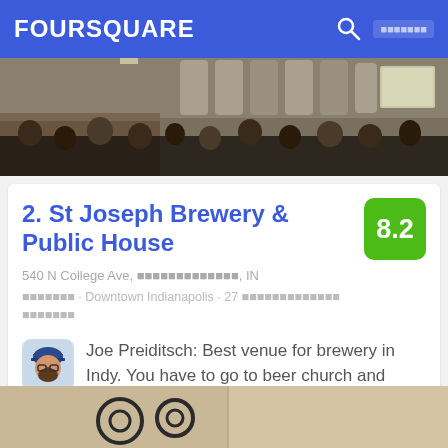FOURSQUARE
[Figure (photo): Interior of St Joseph Brewery with people and brewing equipment]
2. St Joseph Brewery & Public House
540 N College Ave, Indianapolis, IN
Brewery · Downtown Indianapolis · 27 Tips and reviews
Joe Preiditsch: Best venue for brewery in Indy. You have to go to beer church and repent your light beer sins.
[Figure (photo): Partial view of another venue photo at bottom]